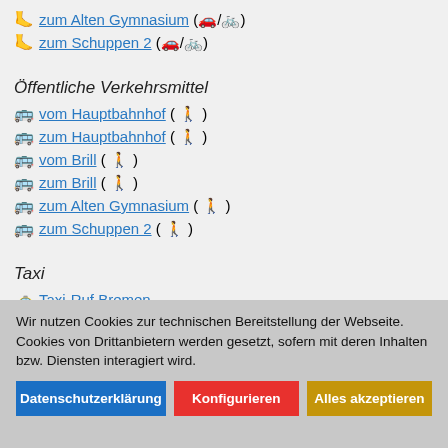🦶 zum Alten Gymnasium (🚗/🚲)
🦶 zum Schuppen 2 (🚗/🚲)
Öffentliche Verkehrsmittel
🚌 vom Hauptbahnhof ( 🚶 )
🚌 zum Hauptbahnhof ( 🚶 )
🚌 vom Brill ( 🚶 )
🚌 zum Brill ( 🚶 )
🚌 zum Alten Gymnasium ( 🚶 )
🚌 zum Schuppen 2 ( 🚶 )
Taxi
🚕 Taxi-Ruf Bremen
Wir nutzen Cookies zur technischen Bereitstellung der Webseite. Cookies von Drittanbietern werden gesetzt, sofern mit deren Inhalten bzw. Diensten interagiert wird.
Datenschutzerklärung | Konfigurieren | Alles akzeptieren